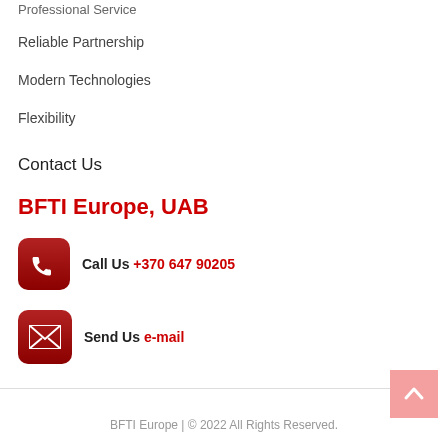Professional Service
Reliable Partnership
Modern Technologies
Flexibility
Contact Us
BFTI Europe, UAB
Call Us +370 647 90205
Send Us e-mail
BFTI Europe | © 2022 All Rights Reserved.